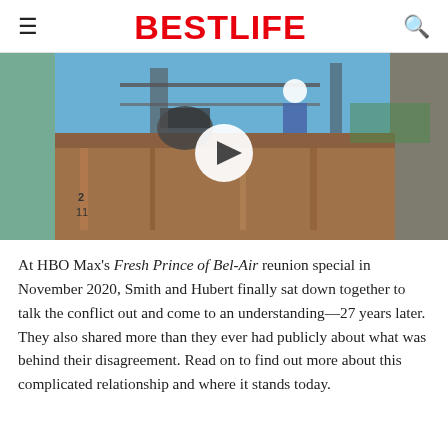BESTLIFE
[Figure (photo): Video thumbnail showing a worker in a hard hat on industrial equipment/boat structure with blue sky background. A circular play button is overlaid in the center.]
At HBO Max's Fresh Prince of Bel-Air reunion special in November 2020, Smith and Hubert finally sat down together to talk the conflict out and come to an understanding—27 years later. They also shared more than they ever had publicly about what was behind their disagreement. Read on to find out more about this complicated relationship and where it stands today.